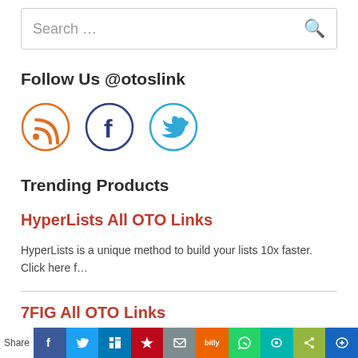Search …
Follow Us @otoslink
[Figure (illustration): Three social media icon circles: RSS (orange), Facebook (dark blue), Twitter (light blue)]
Trending Products
HyperLists All OTO Links
HyperLists is a unique method to build your lists 10x faster. Click here f...
7FIG All OTO Links
7FIG is an app that adds 100 to 300 customers into your mailing list
Share social bar icons: Facebook, Twitter, LinkedIn, Pinterest, Email, Bitly, WhatsApp, Line, Other, More